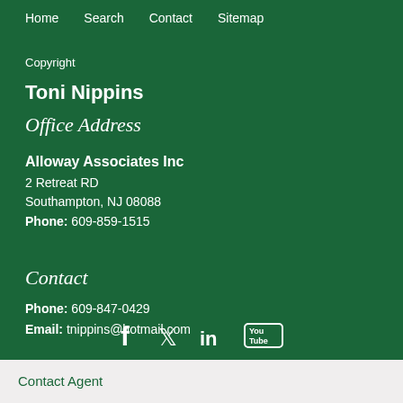Home   Search   Contact   Sitemap
Copyright
Toni Nippins
Office Address
Alloway Associates Inc
2 Retreat RD
Southampton, NJ 08088
Phone: 609-859-1515
Contact
Phone: 609-847-0429
Email: tnippins@hotmail.com
[Figure (infographic): Social media icons: Facebook, Twitter, LinkedIn, YouTube]
Contact Agent